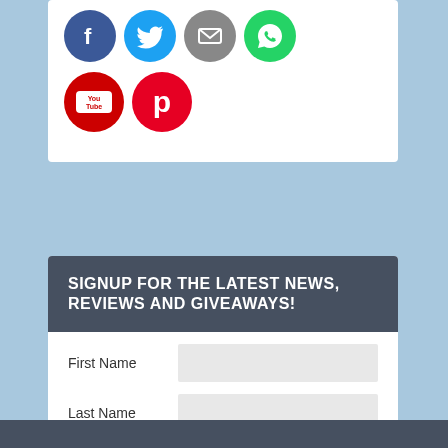[Figure (illustration): Social media icon circles row 1: Facebook (blue), Twitter (light blue), Email (grey), WhatsApp (green)]
[Figure (illustration): Social media icon circles row 2: YouTube (red with You Tube text), Pinterest (red with P logo)]
SIGNUP FOR THE LATEST NEWS, REVIEWS AND GIVEAWAYS!
First Name
Last Name
Email address:
YOUR EMAIL ADDRESS
SIGN UP